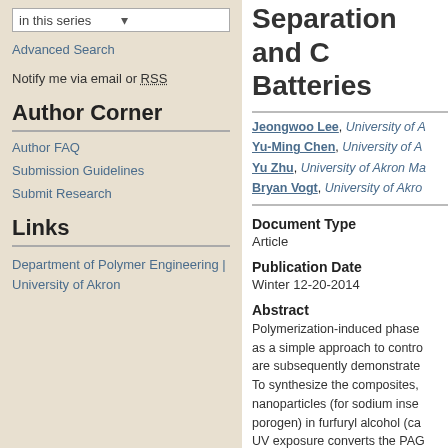in this series
Advanced Search
Notify me via email or RSS
Author Corner
Author FAQ
Submission Guidelines
Submit Research
Links
Department of Polymer Engineering | University of Akron
Separation and C... Batteries
Jeongwoo Lee, University of A...
Yu-Ming Chen, University of A...
Yu Zhu, University of Akron Ma...
Bryan Vogt, University of Akro...
Document Type
Article
Publication Date
Winter 12-20-2014
Abstract
Polymerization-induced phase as a simple approach to contro are subsequently demonstrate To synthesize the composites, nanoparticles (for sodium inse porogen) in furfuryl alcohol (ca UV exposure converts the PAG polymerization. This polymeriz PHBMA and reduces the mobil